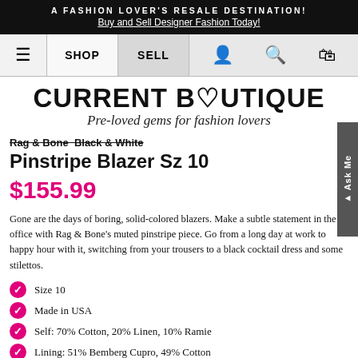A FASHION LOVER'S RESALE DESTINATION! Buy and Sell Designer Fashion Today!
[Figure (screenshot): Navigation bar with hamburger menu, SHOP, SELL tabs and icons for user, search, and shopping bag]
CURRENT BOUTIQUE Pre-loved gems for fashion lovers
Rag & Bone Black & White Pinstripe Blazer Sz 10
$155.99
Gone are the days of boring, solid-colored blazers. Make a subtle statement in the office with Rag & Bone's muted pinstripe piece. Go from a long day at work to happy hour with it, switching from your trousers to a black cocktail dress and some stilettos.
Size 10
Made in USA
Self: 70% Cotton, 20% Linen, 10% Ramie
Lining: 51% Bemberg Cupro, 49% Cotton